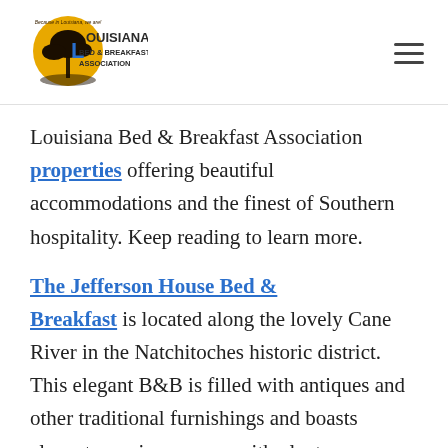[Figure (logo): Louisiana Bed & Breakfast Association logo — golden yellow circle with tree silhouette and blue/dark text reading LOUISIANA BED & BREAKFAST ASSOCIATION with tagline 'Bocame in Louisiana, we are!']
Louisiana Bed & Breakfast Association properties offering beautiful accommodations and the finest of Southern hospitality. Keep reading to learn more.
The Jefferson House Bed & Breakfast is located along the lovely Cane River in the Natchitoches historic district. This elegant B&B is filled with antiques and other traditional furnishings and boasts elegant, spacious rooms with plenty